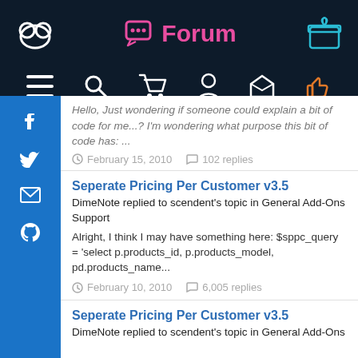Forum
Hello, Just wondering if someone could explain a bit of code for me...? I'm wondering what purpose this bit of code has: ...
February 15, 2010   102 replies
Seperate Pricing Per Customer v3.5
DimeNote replied to scendent's topic in General Add-Ons Support
Alright, I think I may have something here: $sppc_query = 'select p.products_id, p.products_model, pd.products_name...
February 10, 2010   6,005 replies
Seperate Pricing Per Customer v3.5
DimeNote replied to scendent's topic in General Add-Ons